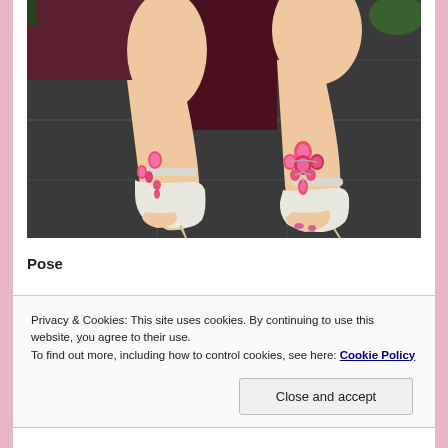[Figure (photo): Close-up photo of two feet wearing white high-heel sandals with pink jeweled ankle decorations on a dark tile floor]
Pose
Privacy & Cookies: This site uses cookies. By continuing to use this website, you agree to their use.
To find out more, including how to control cookies, see here: Cookie Policy
Close and accept